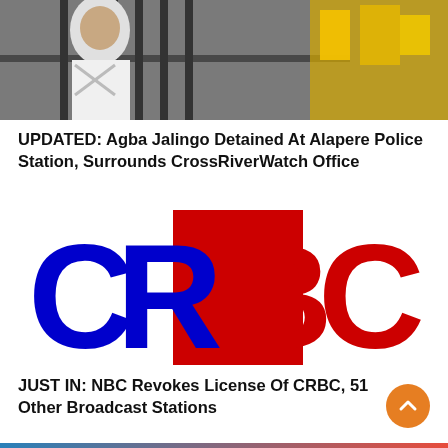[Figure (photo): Top photo showing a person in white near iron bars/gate with yellow items visible in background]
UPDATED: Agba Jalingo Detained At Alapere Police Station, Surrounds CrossRiverWatch Office
[Figure (logo): CRBC logo with large letters C and R in blue and B and C in red on white background]
JUST IN: NBC Revokes License Of CRBC, 51 Other Broadcast Stations